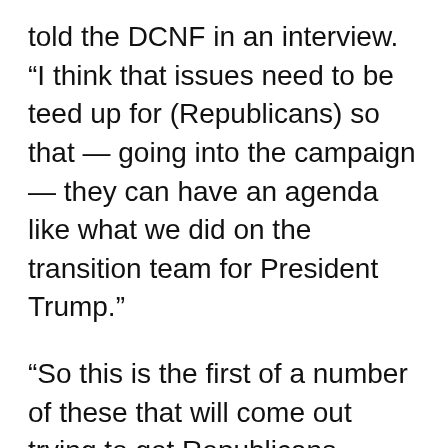told the DCNF in an interview. “I think that issues need to be teed up for (Republicans) so that — going into the campaign — they can have an agenda like what we did on the transition team for President Trump.”
“So this is the first of a number of these that will come out trying to get Republicans focused on what needs to be fixed by Congress on the environment and energy,” he continued, hinting at a sustained effort to inform Republicans about key energy issues ahead of the midterm election: